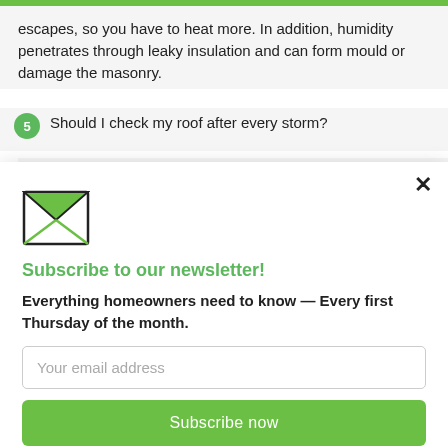escapes, so you have to heat more. In addition, humidity penetrates through leaky insulation and can form mould or damage the masonry.
5   Should I check my roof after every storm?
[Figure (illustration): Green envelope icon with open flap and X pattern on the front]
Subscribe to our newsletter!
Everything homeowners need to know — Every first Thursday of the month.
Your email address
Subscribe now